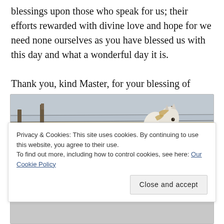blessings upon those who speak for us; their efforts rewarded with divine love and hope for we need none ourselves as you have blessed us with this day and what a wonderful day it is.
Thank you, kind Master, for your blessing of today.
[Figure (photo): A white horse standing near a barbed wire fence with wooden posts, surrounded by dry golden grass, viewed from the side facing toward the camera.]
Privacy & Cookies: This site uses cookies. By continuing to use this website, you agree to their use.
To find out more, including how to control cookies, see here: Our Cookie Policy